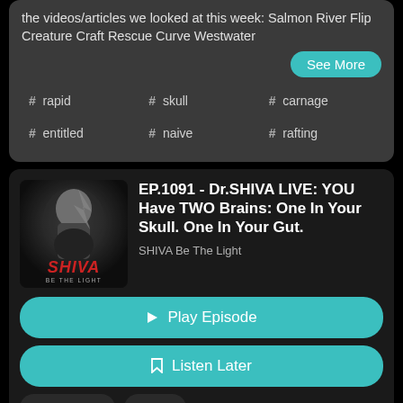the videos/articles we looked at this week: Salmon River Flip Creature Craft Rescue Curve Westwater
See More
# rapid
# skull
# carnage
# entitled
# naive
# rafting
[Figure (photo): Podcast thumbnail showing a man in dark clothing against a dark background with SHIVA BE THE LIGHT text]
EP.1091 - Dr.SHIVA LIVE: YOU Have TWO Brains: One In Your Skull. One In Your Gut.
SHIVA Be The Light
▶ Play Episode
Listen Later
Aug 5, 2022
55:50